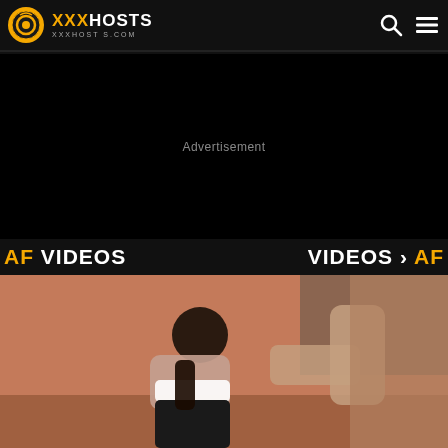XXXHOSTS XXXHOSTS.COM
[Figure (other): Advertisement black banner area with centered 'Advertisement' label]
AF VIDEOS
VIDEOS › AF
[Figure (photo): Video thumbnail showing adult content - two people in intimate scene]